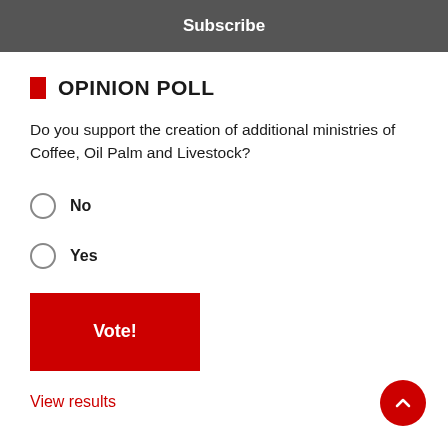Subscribe
OPINION POLL
Do you support the creation of additional ministries of Coffee, Oil Palm and Livestock?
No
Yes
Vote!
View results